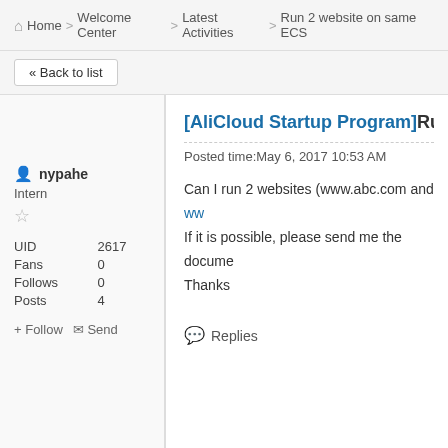Home > Welcome Center > Latest Activities > Run 2 website on same ECS
« Back to list
nypahe
Intern
UID 2617
Fans 0
Follows 0
Posts 4
+ Follow  ✉ Send
[AliCloud Startup Program]Run 2 web...
Posted time:May 6, 2017 10:53 AM
Can I run 2 websites (www.abc.com and ww...
If it is possible, please send me the docume...
Thanks
Replies